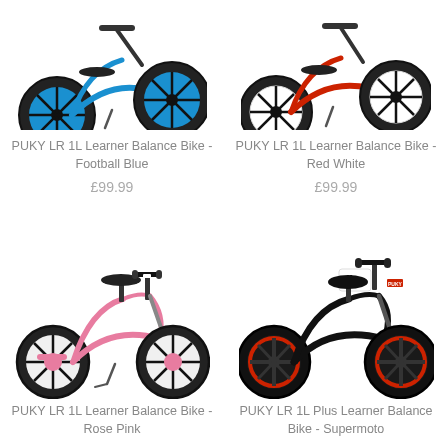[Figure (photo): PUKY LR 1L Learner Balance Bike in Football Blue color, partially visible from top]
PUKY LR 1L Learner Balance Bike - Football Blue
£99.99
[Figure (photo): PUKY LR 1L Learner Balance Bike in Red White color, partially visible from top]
PUKY LR 1L Learner Balance Bike - Red White
£99.99
[Figure (photo): PUKY LR 1L Learner Balance Bike in Rose Pink color, full view]
PUKY LR 1L Learner Balance Bike - Rose Pink
[Figure (photo): PUKY LR 1L Plus Learner Balance Bike Supermoto style, black with red wheels, full view]
PUKY LR 1L Plus Learner Balance Bike - Supermoto